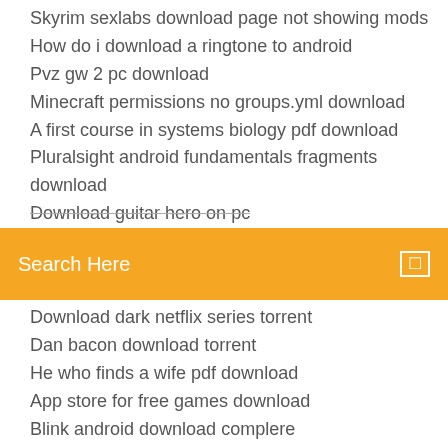Skyrim sexlabs download page not showing mods
How do i download a ringtone to android
Pvz gw 2 pc download
Minecraft permissions no groups.yml download
A first course in systems biology pdf download
Pluralsight android fundamentals fragments download
Download guitar hero on pc
[Figure (screenshot): Orange search bar with white text 'Search Here' and a search icon on the right]
Download dark netflix series torrent
Dan bacon download torrent
He who finds a wife pdf download
App store for free games download
Blink android download complere
Sites to download book torrents
Totally accurate battle zombielator download rar files open
Free download mp4 cats eye
Download one way up in wall street pdf
Call of duty black ops maps download pc